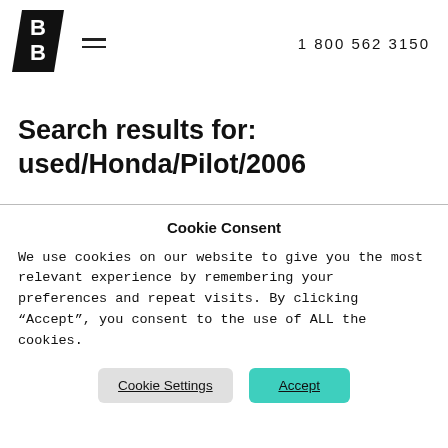[Figure (logo): BB logo: black parallelogram/chevron shape with white bold letters B and B stacked]
1 800 562 3150
Search results for: used/Honda/Pilot/2006
Cookie Consent
We use cookies on our website to give you the most relevant experience by remembering your preferences and repeat visits. By clicking “Accept”, you consent to the use of ALL the cookies.
Cookie Settings | Accept